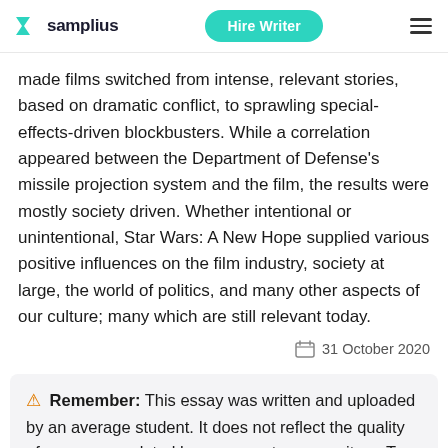samplius | Hire Writer
made films switched from intense, relevant stories, based on dramatic conflict, to sprawling special-effects-driven blockbusters. While a correlation appeared between the Department of Defense's missile projection system and the film, the results were mostly society driven. Whether intentional or unintentional, Star Wars: A New Hope supplied various positive influences on the film industry, society at large, the world of politics, and many other aspects of our culture; many which are still relevant today.
31 October 2020
⚠ Remember: This essay was written and uploaded by an average student. It does not reflect the quality of papers completed by our expert essay writers. To get a